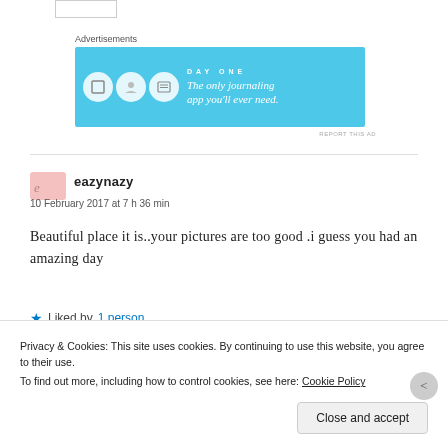[Figure (other): Advertisement banner for Day One journaling app with blue background, icons, and tagline 'The only journaling app you'll ever need.']
REPORT THIS AD
eazynazy
10 February 2017 at 7 h 36 min
Beautiful place it is..your pictures are too good .i guess you had an amazing day
★ Liked by 1 person
Privacy & Cookies: This site uses cookies. By continuing to use this website, you agree to their use.
To find out more, including how to control cookies, see here: Cookie Policy